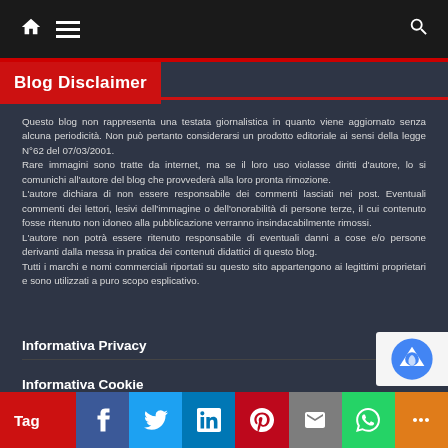Blog Disclaimer
Questo blog non rappresenta una testata giornalistica in quanto viene aggiornato senza alcuna periodicità. Non può pertanto considerarsi un prodotto editoriale ai sensi della legge N°62 del 07/03/2001.
Rare immagini sono tratte da internet, ma se il loro uso violasse diritti d'autore, lo si comunichi all'autore del blog che provvederà alla loro pronta rimozione.
L'autore dichiara di non essere responsabile dei commenti lasciati nei post. Eventuali commenti dei lettori, lesivi dell'immagine o dell'onorabilità di persone terze, il cui contenuto fosse ritenuto non idoneo alla pubblicazione verranno insindacabilmente rimossi.
L'autore non potrà essere ritenuto responsabile di eventuali danni a cose e/o persone derivanti dalla messa in pratica dei contenuti didattici di questo blog.
Tutti i marchi e nomi commerciali riportati su questo sito appartengono ai legittimi proprietari e sono utilizzati a puro scopo esplicativo.
Informativa Privacy
Informativa Cookie